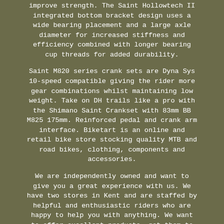improve strength. The Saint Hollowtech II integrated bottom bracket design uses a wide bearing placement and a large axle diameter for increased stiffness and efficiency combined with longer bearing cup threads for added durability.
Saint M820 series crank sets are Dyna Sys 10-speed compatible giving the rider more gear combinations whilst maintaining low weight. Take on DH trails like a pro with the Shimano Saint Crankset with 83mm BB M825 175mm. Reinforced pedal and crank arm interface. Biketart is an online and retail bike store stocking quality MTB and road bikes, clothing, components and accessories.
We are independently owned and want to give you a great experience with us. We have two stores in Kent and are staffed by helpful and enthusiastic riders who are happy to help you with anything. We want to offer excellent products, get them to you quickly and provide a top service before and after sales.
You can select a faster, tracked service if you wish. The item must be in as-new